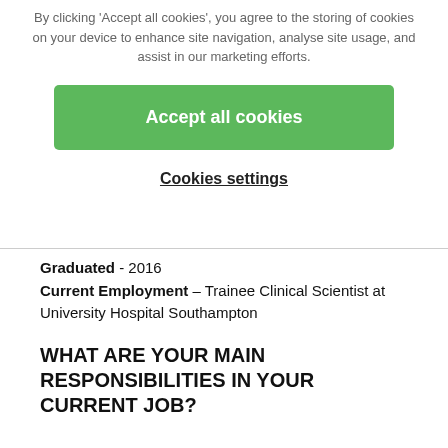By clicking 'Accept all cookies', you agree to the storing of cookies on your device to enhance site navigation, analyse site usage, and assist in our marketing efforts.
[Figure (other): Green 'Accept all cookies' button]
Cookies settings
Graduated - 2016
Current Employment – Trainee Clinical Scientist at University Hospital Southampton
WHAT ARE YOUR MAIN RESPONSIBILITIES IN YOUR CURRENT JOB?